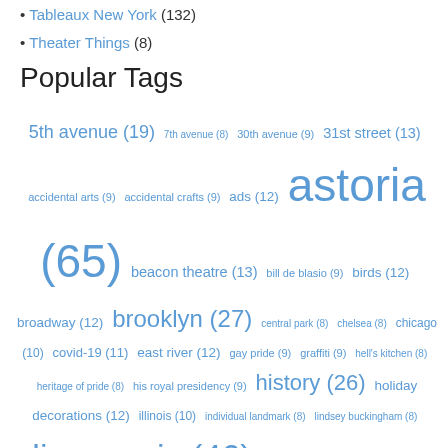Tableaux New York (132)
Theater Things (8)
Popular Tags
5th avenue (19) 7th avenue (8) 30th avenue (9) 31st street (13) accidental arts (9) accidental crafts (9) ads (12) astoria (65) beacon theatre (13) bill de blasio (9) birds (12) broadway (12) brooklyn (27) central park (8) chelsea (8) chicago (10) covid-19 (11) east river (12) gay pride (9) graffiti (9) hell's kitchen (8) heritage of pride (8) his royal presidency (9) history (26) holiday decorations (12) illinois (10) individual landmark (8) lindsey buckingham (8) live music (46) live music reviews (15) lower manhattan (30) mayor de blasio (9) midtown (21) new jersey (10) new york harbor (9) nyc pride (8) pride march (8) prince (9) queens (77) roger waters (9) signs (34) theater (8) times square (26) twilight (21) upper east side